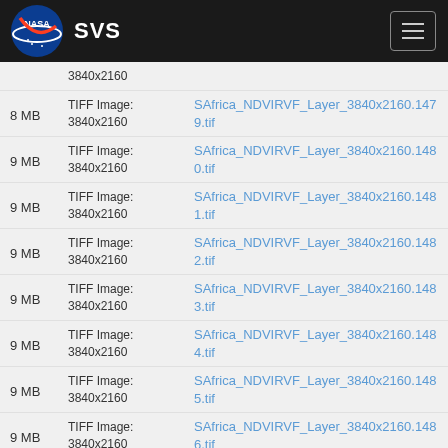NASA SVS
8 MB | TIFF Image: 3840x2160 | SAfrica_NDVIRVF_Layer_3840x2160.1479.tif
9 MB | TIFF Image: 3840x2160 | SAfrica_NDVIRVF_Layer_3840x2160.1480.tif
9 MB | TIFF Image: 3840x2160 | SAfrica_NDVIRVF_Layer_3840x2160.1481.tif
9 MB | TIFF Image: 3840x2160 | SAfrica_NDVIRVF_Layer_3840x2160.1482.tif
9 MB | TIFF Image: 3840x2160 | SAfrica_NDVIRVF_Layer_3840x2160.1483.tif
9 MB | TIFF Image: 3840x2160 | SAfrica_NDVIRVF_Layer_3840x2160.1484.tif
9 MB | TIFF Image: 3840x2160 | SAfrica_NDVIRVF_Layer_3840x2160.1485.tif
9 MB | TIFF Image: 3840x2160 | SAfrica_NDVIRVF_Layer_3840x2160.1486.tif
9 MB | TIFF Image: 3840x2160 | SAfrica_NDVIRVF_Layer_3840x2160.1487.tif
TIFF Image: (partial)